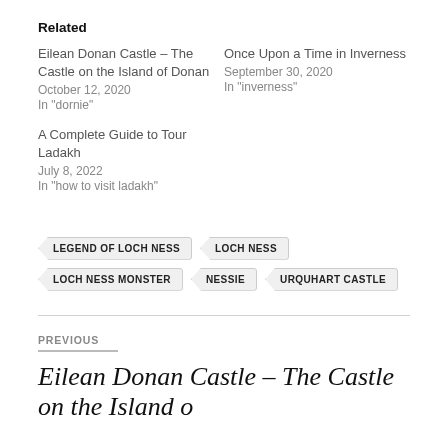Related
Eilean Donan Castle – The Castle on the Island of Donan
October 12, 2020
In "dornie"
Once Upon a Time in Inverness
September 30, 2020
In "inverness"
A Complete Guide to Tour Ladakh
July 8, 2022
In "how to visit ladakh"
LEGEND OF LOCH NESS
LOCH NESS
LOCH NESS MONSTER
NESSIE
URQUHART CASTLE
PREVIOUS
Eilean Donan Castle – The Castle on the Island of Donan